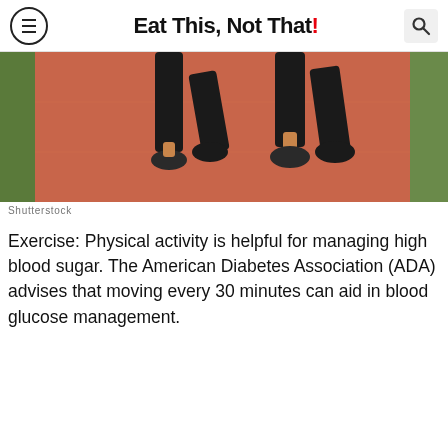Eat This, Not That!
[Figure (photo): Two people jogging on a red running track outdoors, viewed from the waist down wearing black athletic clothing and sneakers.]
Shutterstock
Exercise: Physical activity is helpful for managing high blood sugar. The American Diabetes Association (ADA) advises that moving every 30 minutes can aid in blood glucose management.